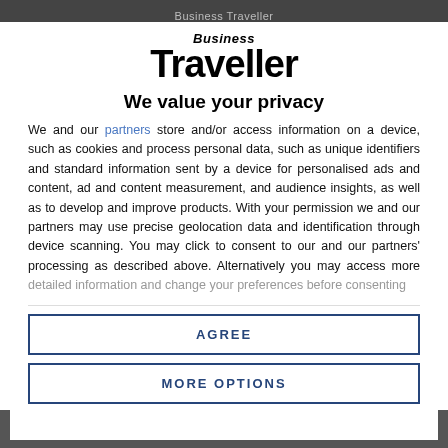Business Traveller
[Figure (logo): Business Traveller logo — italic 'Business' above large bold 'Traveller']
We value your privacy
We and our partners store and/or access information on a device, such as cookies and process personal data, such as unique identifiers and standard information sent by a device for personalised ads and content, ad and content measurement, and audience insights, as well as to develop and improve products. With your permission we and our partners may use precise geolocation data and identification through device scanning. You may click to consent to our and our partners' processing as described above. Alternatively you may access more detailed information and change your preferences before consenting
AGREE
MORE OPTIONS